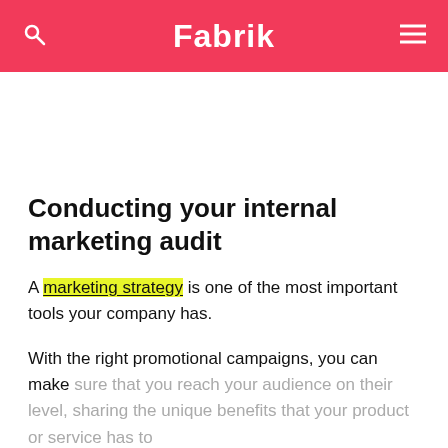Fabrik
Conducting your internal marketing audit
A marketing strategy is one of the most important tools your company has.
With the right promotional campaigns, you can make sure that you reach your audience on their level, sharing the unique benefits that your product or service has to